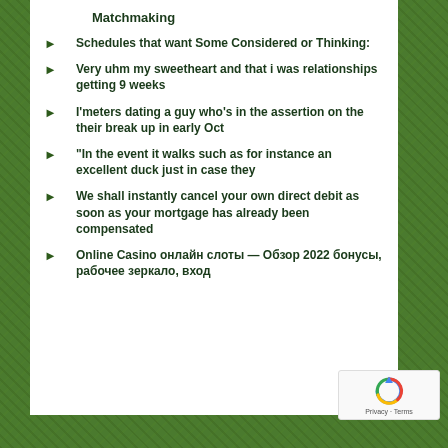Matchmaking
Schedules that want Some Considered or Thinking:
Very uhm my sweetheart and that i was relationships getting 9 weeks
I'meters dating a guy who's in the assertion on the their break up in early Oct
“In the event it walks such as for instance an excellent duck just in case they
We shall instantly cancel your own direct debit as soon as your mortgage has already been compensated
Online Casino онлайн слоты — Обзор 2022 бонусы, рабочее зеркало, вход